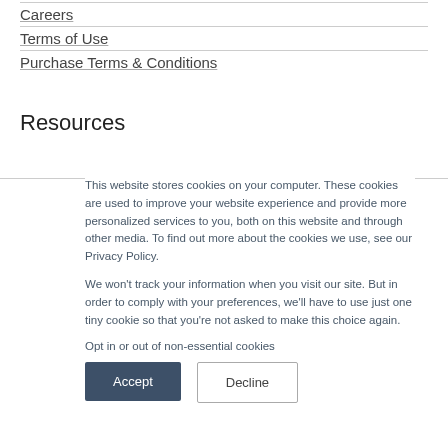Careers
Terms of Use
Purchase Terms & Conditions
Resources
This website stores cookies on your computer. These cookies are used to improve your website experience and provide more personalized services to you, both on this website and through other media. To find out more about the cookies we use, see our Privacy Policy.
We won't track your information when you visit our site. But in order to comply with your preferences, we'll have to use just one tiny cookie so that you're not asked to make this choice again.
Opt in or out of non-essential cookies
Accept
Decline